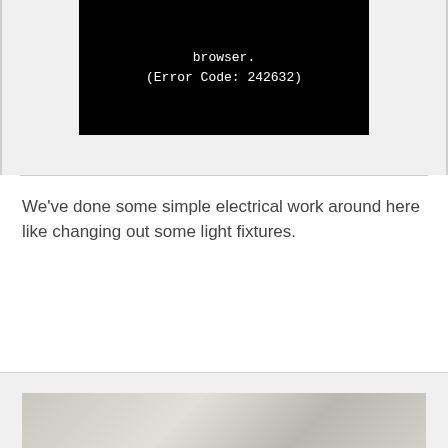[Figure (screenshot): Black video player area showing error text: 'browser. (Error Code: 242632)' in white monospace font on black background]
We've done some simple electrical work around here like changing out some light fixtures.
[Figure (photo): Partial view of a photo at the bottom of the page, appears to show a light-colored surface or material]